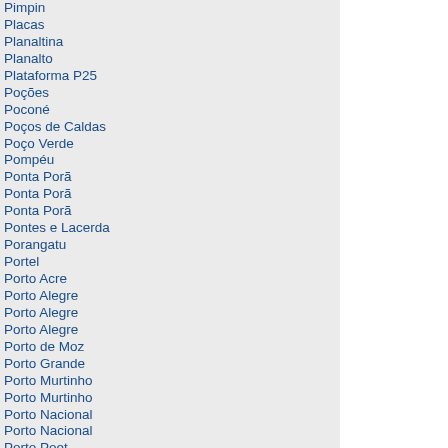Pimpin
Placas
Planaltina
Planalto
Plataforma P25
Poções
Poconé
Poços de Caldas
Poço Verde
Pompéu
Ponta Porã
Ponta Porã
Ponta Porã
Pontes e Lacerda
Porangatu
Portel
Porto Acre
Porto Alegre
Porto Alegre
Porto Alegre
Porto de Moz
Porto Grande
Porto Murtinho
Porto Murtinho
Porto Nacional
Porto Nacional
Porto Poet
Porto Seguro
Porto Seguro
Porto Seguro
Porto União
Porto Velho
Porto Walter